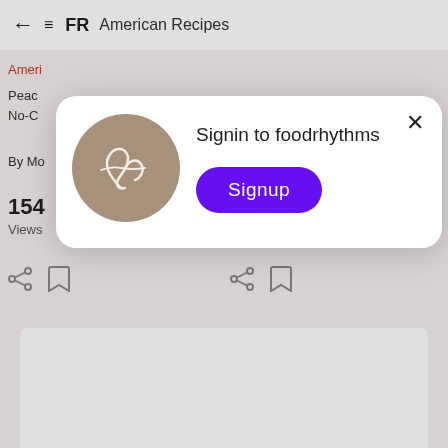← ≡ FR  American Recipes
Ameri
Peac
No-C
By Mo
154
Views
[Figure (screenshot): Share and bookmark icons (two sets)]
[Figure (screenshot): Modal dialog with foodrhythms logo, 'Signin to foodrhythms' text, and Signup button]
Signin to foodrhythms
Signup